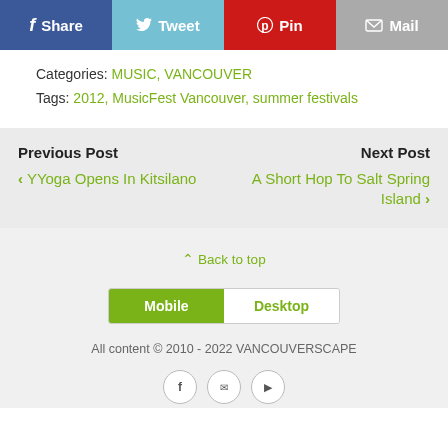[Figure (infographic): Social share bar with Facebook Share, Twitter Tweet, Pinterest Pin, and Mail buttons]
Categories: MUSIC, VANCOUVER
Tags: 2012, MusicFest Vancouver, summer festivals
Previous Post
‹ YYoga Opens In Kitsilano
Next Post
A Short Hop To Salt Spring Island ›
^ Back to top
[Figure (infographic): Mobile / Desktop toggle button — Mobile selected (green), Desktop unselected]
All content © 2010 - 2022 VANCOUVERSCAPE
[Figure (infographic): Social media icon circles row at bottom]